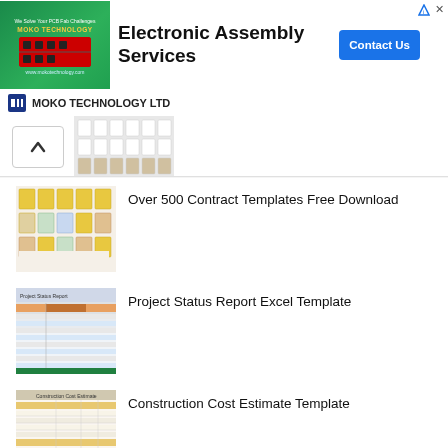[Figure (screenshot): Advertisement banner for MOKO Technology LTD - Electronic Assembly Services with green PCB image on left, bold title in center, and blue Contact Us button on right]
MOKO TECHNOLOGY LTD
[Figure (screenshot): Partial thumbnail of document templates grid at top of list]
Over 500 Contract Templates Free Download
Project Status Report Excel Template
Construction Cost Estimate Template
Download Over 25 Cost Estimation Checklists for Free